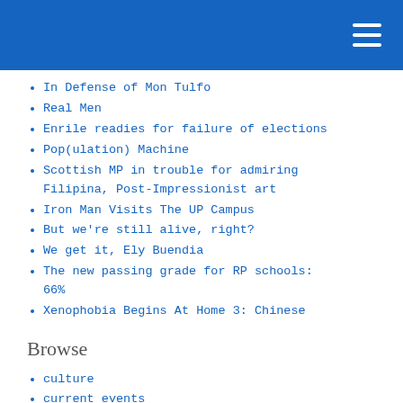In Defense of Mon Tulfo
Real Men
Enrile readies for failure of elections
Pop(ulation) Machine
Scottish MP in trouble for admiring Filipina, Post-Impressionist art
Iron Man Visits The UP Campus
But we're still alive, right?
We get it, Ely Buendia
The new passing grade for RP schools: 66%
Xenophobia Begins At Home 3: Chinese
Browse
culture
current events